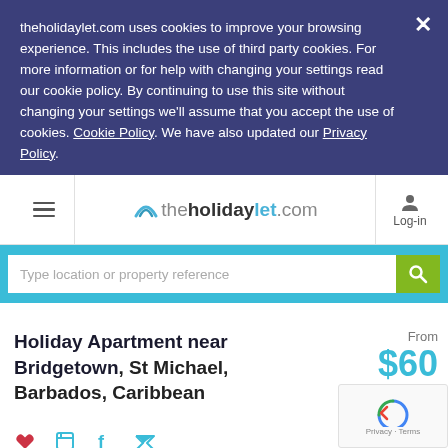theholidaylet.com uses cookies to improve your browsing experience. This includes the use of third party cookies. For more information or for help with changing your settings read our cookie policy. By continuing to use this site without changing your settings we'll assume that you accept the use of cookies. Cookie Policy. We have also updated our Privacy Policy.
theholidaylet.com — Log-in
Type location or property reference
Holiday Apartment near Bridgetown, St Michael, Barbados, Caribbean
From $60 per night